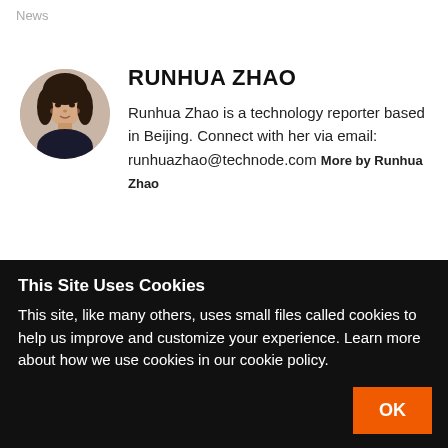News
[Figure (photo): Circular headshot photo of Runhua Zhao, a woman with long dark hair wearing a dark top, against a light background.]
RUNHUA ZHAO
Runhua Zhao is a technology reporter based in Beijing. Connect with her via email: runhuazhao@technode.com More by Runhua Zhao
Leave a comment
This Site Uses Cookies
This site, like many others, uses small files called cookies to help us improve and customize your experience. Learn more about how we use cookies in our cookie policy.